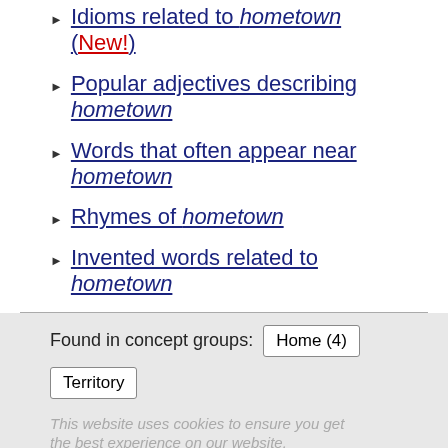Idioms related to hometown (New!)
Popular adjectives describing hometown
Words that often appear near hometown
Rhymes of hometown
Invented words related to hometown
Found in concept groups: Home (4) Territory
This website uses cookies to ensure you get the best experience on our website.
Jump to: General, Art, Business, Computing, Medicine, Miscellaneous, Religion, Science, Slang, Sports, Tech, Phrases
We found 23 dictionaries with English definitions that include the word hometown: